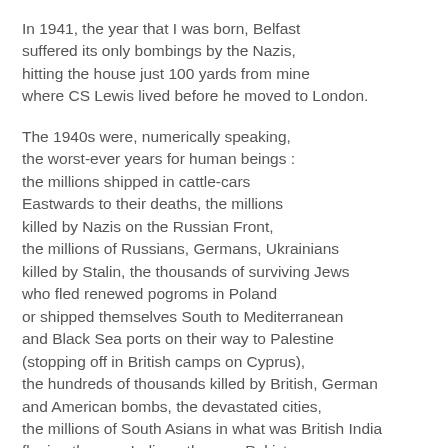In 1941, the year that I was born, Belfast suffered its only bombings by the Nazis, hitting the house just 100 yards from mine where CS Lewis lived before he moved to London.
The 1940s were, numerically speaking, the worst-ever years for human beings : the millions shipped in cattle-cars Eastwards to their deaths, the millions killed by Nazis on the Russian Front, the millions of Russians, Germans, Ukrainians killed by Stalin, the thousands of surviving Jews who fled renewed pogroms in Poland or shipped themselves South to Mediterranean and Black Sea ports on their way to Palestine (stopping off in British camps on Cyprus), the hundreds of thousands killed by British, German and American bombs, the devastated cities, the millions of South Asians in what was British India fleeing the new India or the new Pakistan, many of them slaughtered, the hundreds of thousands of Chinese and Koreans killed by the Japanese